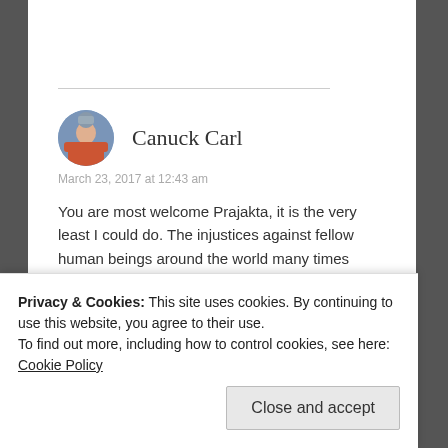Canuck Carl
March 23, 2017 at 12:43 am
You are most welcome Prajakta, it is the very least I could do. The injustices against fellow human beings around the world many times leave me with a “heaviness” and wondering what can I do?
Really hope things will improve!
Privacy & Cookies: This site uses cookies. By continuing to use this website, you agree to their use.
To find out more, including how to control cookies, see here: Cookie Policy
Close and accept